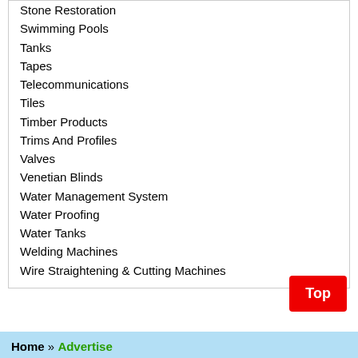Stone Restoration
Swimming Pools
Tanks
Tapes
Telecommunications
Tiles
Timber Products
Trims And Profiles
Valves
Venetian Blinds
Water Management System
Water Proofing
Water Tanks
Welding Machines
Wire Straightening & Cutting Machines
Home » Advertise